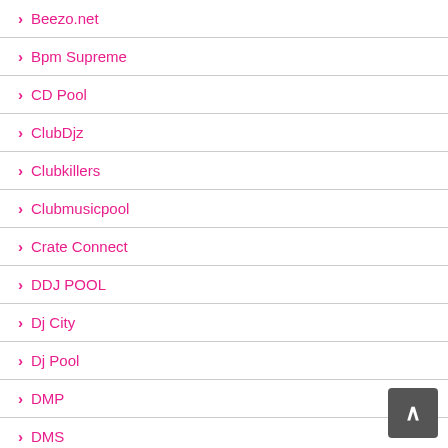Beezo.net
Bpm Supreme
CD Pool
ClubDjz
Clubkillers
Clubmusicpool
Crate Connect
DDJ POOL
Dj City
Dj Pool
DMP
DMS